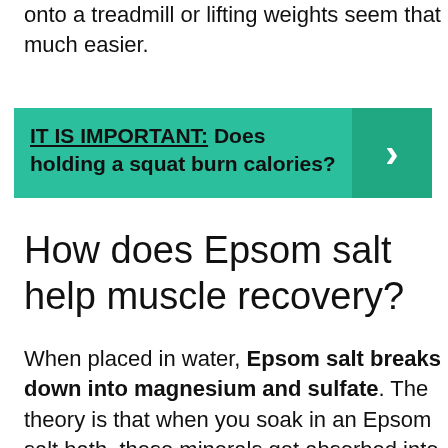onto a treadmill or lifting weights seem that much easier.
[Figure (infographic): Teal callout box with text 'IT IS IMPORTANT: Does holding a squat burn calories?' and a right-facing arrow chevron on the right side in a darker teal panel.]
How does Epsom salt help muscle recovery?
When placed in water, Epsom salt breaks down into magnesium and sulfate. The theory is that when you soak in an Epsom salt bath, these minerals get absorbed into your body through the skin. This may help relax muscles, reduce swelling and pain from arthritis, and relieve pain from fibromyalgia and various causes.